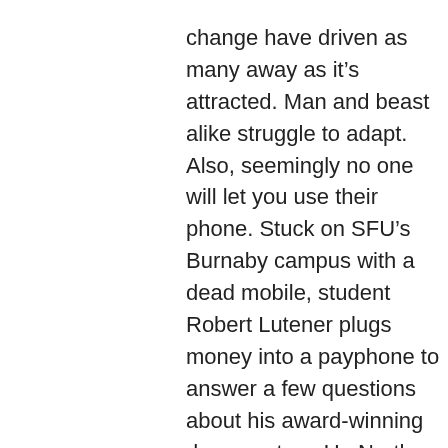change have driven as many away as it’s attracted. Man and beast alike struggle to adapt. Also, seemingly no one will let you use their phone. Stuck on SFU’s Burnaby campus with a dead mobile, student Robert Lutener plugs money into a payphone to answer a few questions about his award-winning documentary, Up North, a treatise on the effects of rapid change on one of the world’s most fragile social and environmental ecosystems.
“Up North is a film that documents the social, cultural, economic, and